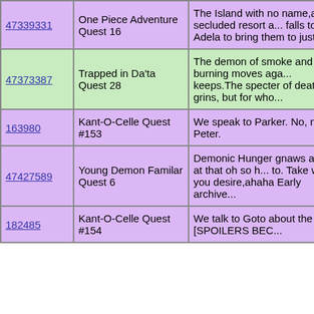| ID | Quest | Description |
| --- | --- | --- |
| 47339331 | One Piece Adventure Quest 16 | The Island with no name,a secluded resort a... falls to Adela to bring them to justice. |
| 47373387 | Trapped in Da'ta Quest 28 | The demon of smoke and burning moves aga... keeps.The specter of death grins, but for who... |
| 163980 | Kant-O-Celle Quest #153 | We speak to Parker. No, not Peter. |
| 47427589 | Young Demon Familar Quest 6 | Demonic Hunger gnaws away at that oh so h... to. Take what you desire,ahaha Early archive... |
| 182485 | Kant-O-Celle Quest #154 | We talk to Goto about the [SPOILERS BEC... |